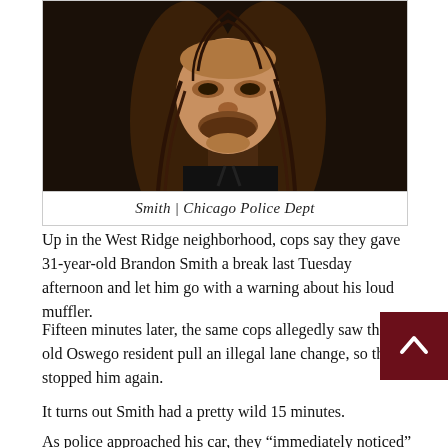[Figure (photo): Mugshot-style photo of Brandon Smith, a man with long brown hair and a beard, wearing a dark shirt, against a dark background. Credit: Chicago Police Dept.]
Smith | Chicago Police Dept
Up in the West Ridge neighborhood, cops say they gave 31-year-old Brandon Smith a break last Tuesday afternoon and let him go with a warning about his loud muffler.
Fifteen minutes later, the same cops allegedly saw the 31-year-old Oswego resident pull an illegal lane change, so they stopped him again.
It turns out Smith had a pretty wild 15 minutes.
As police approached his car, they “immediately noticed” something in his back seat: A large CTA sign reading “Clear Slow Zone” mounted on a steel pole.